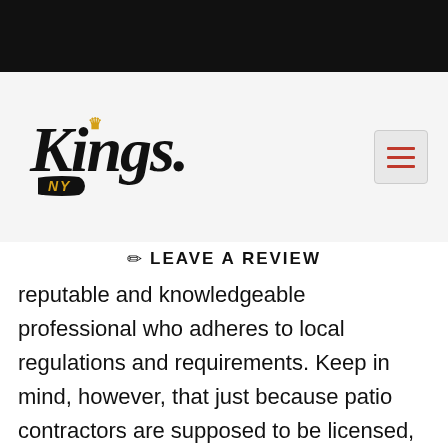[Figure (logo): Kings NY logo with crown icon and hamburger menu button]
✏ LEAVE A REVIEW
reputable and knowledgeable professional who adheres to local regulations and requirements. Keep in mind, however, that just because patio contractors are supposed to be licensed, it doesn't mean they all are. Ask the contractors you meet with for their license number and check with the Better Business Bureau or the New York State Attorney General to make sure